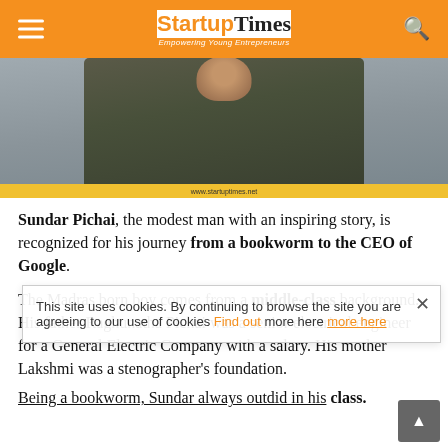Startup Times — Empowering Young Entrepreneurs
[Figure (photo): Photo of Sundar Pichai wearing a dark olive jacket with white shirt collar visible, against a light background. Yellow bar at bottom with watermark www.startuptimes.net]
Sundar Pichai, the modest man with an inspiring story, is recognized for his journey from a bookworm to the CEO of Google.
The Madras born boy comes from a middle-class background. His father Raghunatha Pichai was a senior electrical engineer for a General Electric Company with a salary. His mother Lakshmi was a stenographer's foundation.
Being a bookworm, Sundar always outdid in his class.